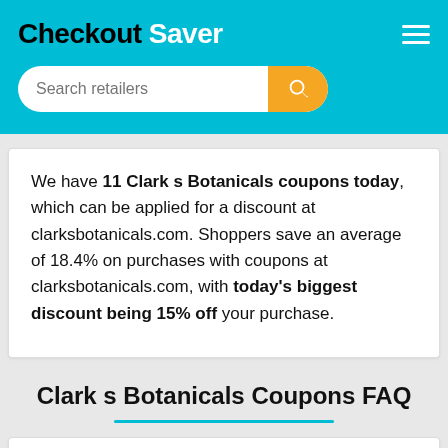Checkout Saver
We have 11 Clark s Botanicals coupons today, which can be applied for a discount at clarksbotanicals.com. Shoppers save an average of 18.4% on purchases with coupons at clarksbotanicals.com, with today's biggest discount being 15% off your purchase.
Clark s Botanicals Coupons FAQ
Where can I get Clark s Botanicals